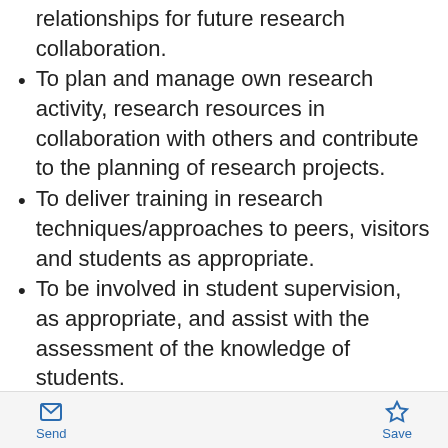relationships for future research collaboration.
To plan and manage own research activity, research resources in collaboration with others and contribute to the planning of research projects.
To deliver training in research techniques/approaches to peers, visitors and students as appropriate.
To be involved in student supervision, as appropriate, and assist with the assessment of the knowledge of students.
To contribute to fostering a collegial and respectful working environment which is inclusive and welcoming and where everyone is treated fairly with dignity and respect.
To engage in wider citizenship to support the [partial]
Send  Save